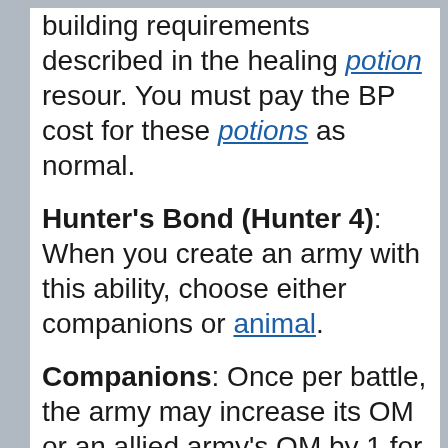building requirements described in the healing potion resour. You must pay the BP cost for these potions as normal.
Hunter's Bond (Hunter 4): When you create an army with this ability, choose either companions or animal.
Companions: Once per battle, the army may increase its OM or an allied army's OM by 1 for the rest of the battle.
Animal: This